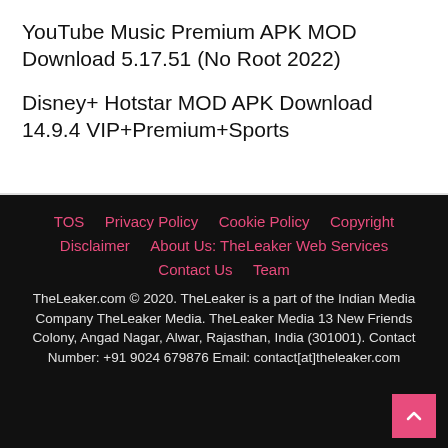YouTube Music Premium APK MOD Download 5.17.51 (No Root 2022)
Disney+ Hotstar MOD APK Download 14.9.4 VIP+Premium+Sports
TOS  Privacy Policy  Cookie Policy  Copyright  Disclaimer  About Us: TheLeaker Web Services  Contact Us  Team

TheLeaker.com © 2020. TheLeaker is a part of the Indian Media Company TheLeaker Media. TheLeaker Media 13 New Friends Colony, Angad Nagar, Alwar, Rajasthan, India (301001). Contact Number: +91 9024 679876 Email: contact[at]theleaker.com